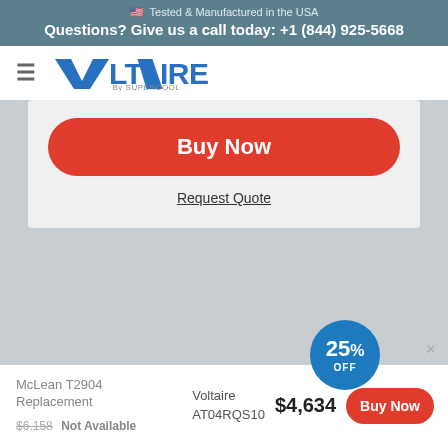🇺🇸 Tested & Manufactured in the USA
Questions? Give us a call today: +1 (844) 925-5668
[Figure (logo): Voltaire By Supercool logo with hamburger menu icon]
[Figure (screenshot): Buy Now red button and Request Quote link on light grey card background]
McLean T2904 Replacement
$6,158 Not Available
Voltaire AT04RQS10
$4,634
25% OFF badge